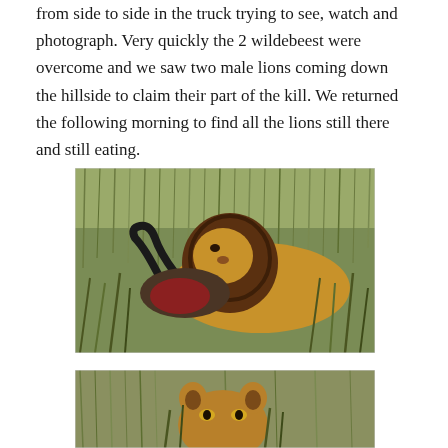from side to side in the truck trying to see, watch and photograph. Very quickly the 2 wildebeest were overcome and we saw two male lions coming down the hillside to claim their part of the kill. We returned the following morning to find all the lions still there and still eating.
[Figure (photo): A male lion with a dark mane lying in tall grass, feeding on a wildebeest carcass showing a curved horn and exposed flesh.]
[Figure (photo): A lion (partially visible, showing the top of the head with ears) lying in tall dry grass, looking toward the camera.]